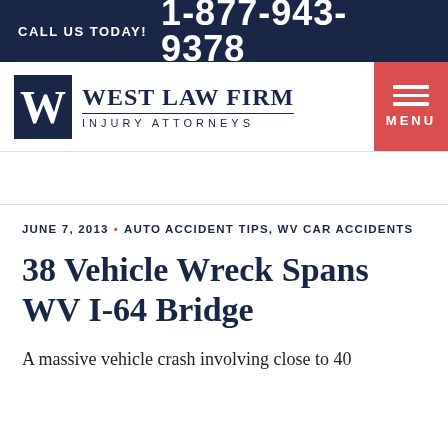CALL US TODAY! 1-877-943-9378
[Figure (logo): West Law Firm Injury Attorneys logo with stylized W icon and text]
JUNE 7, 2013 • AUTO ACCIDENT TIPS, WV CAR ACCIDENTS
38 Vehicle Wreck Spans WV I-64 Bridge
A massive vehicle crash involving close to 40